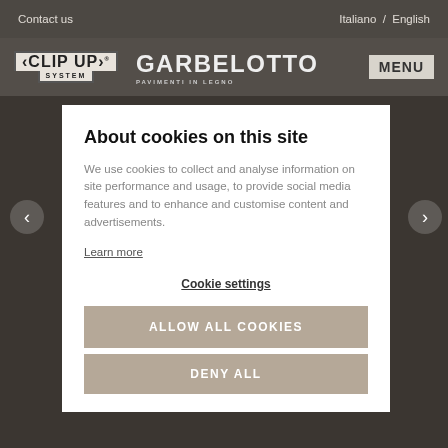Contact us   Italiano / English
[Figure (logo): Clip Up System and Garbelotto Pavimenti in Legno logos with MENU button]
About cookies on this site
We use cookies to collect and analyse information on site performance and usage, to provide social media features and to enhance and customise content and advertisements.
Learn more
Cookie settings
ALLOW ALL COOKIES
DENY ALL